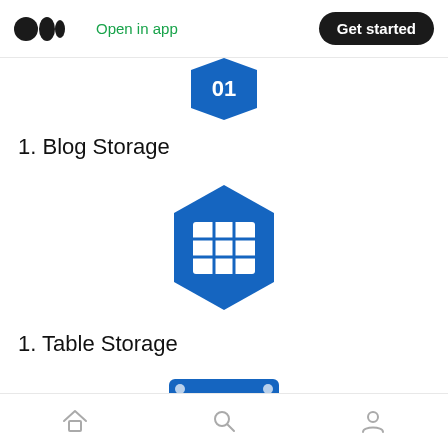Medium logo | Open in app | Get started
[Figure (illustration): Partial blue hexagon icon with '01' text, cropped at top]
1. Blog Storage
[Figure (illustration): Blue hexagon icon with a 3x3 grid/table symbol inside, representing Table Storage]
1. Table Storage
[Figure (illustration): Partial blue square icon with a circular disk/hard drive symbol, cropped at bottom]
Home | Search | Profile navigation icons